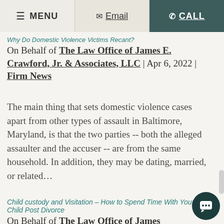≡ MENU | ✉ Email | ☎ CALL
Why Do Domestic Violence Victims Recant?
On Behalf of The Law Office of James E. Crawford, Jr. & Associates, LLC | Apr 6, 2022 | Firm News
The main thing that sets domestic violence cases apart from other types of assault in Baltimore, Maryland, is that the two parties -- both the alleged assaulter and the accuser -- are from the same household. In addition, they may be dating, married, or related…
Child custody and Visitation – How to Spend Time With Your Child Post Divorce
On Behalf of The Law Office of James